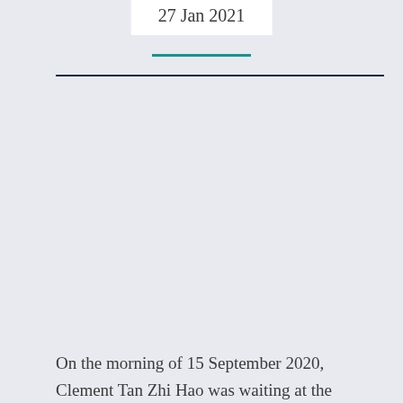27 Jan 2021
On the morning of 15 September 2020, Clement Tan Zhi Hao was waiting at the